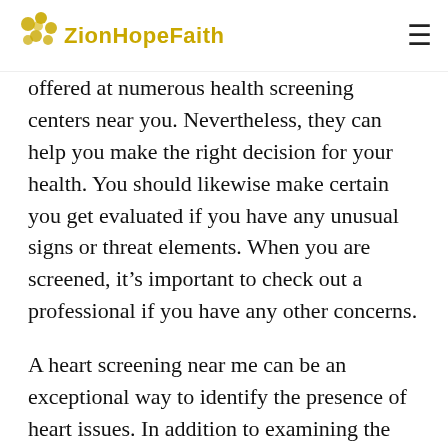ZionHopeFaith
offered at numerous health screening centers near you. Nevertheless, they can help you make the right decision for your health. You should likewise make certain you get evaluated if you have any unusual signs or threat elements. When you are screened, it's important to check out a professional if you have any other concerns.
A heart screening near me can be an exceptional way to identify the presence of heart issues. In addition to examining the risk of cardiovascular disease, it can